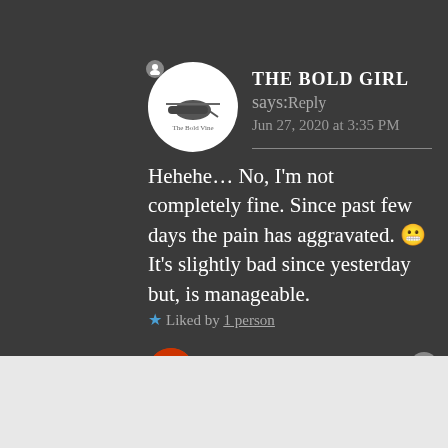[Figure (illustration): Circular white avatar with blog logo 'The Bold Vine' and helicopter graphic]
THE BOLD GIRL says: Reply
Jun 27, 2020 at 3:35 PM
Hehehe… No, I'm not completely fine. Since past few days the pain has aggravated. 😬 It's slightly bad since yesterday but, is manageable.
★ Liked by 1 person
Advertisements
[Figure (screenshot): DuckDuckGo advertisement banner: 'Search, browse, and email with more privacy. All in One Free App' with DuckDuckGo logo]